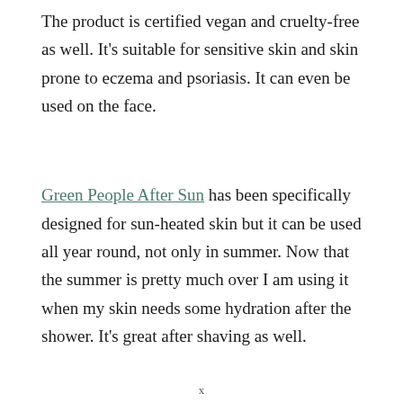The product is certified vegan and cruelty-free as well. It's suitable for sensitive skin and skin prone to eczema and psoriasis. It can even be used on the face.
Green People After Sun has been specifically designed for sun-heated skin but it can be used all year round, not only in summer. Now that the summer is pretty much over I am using it when my skin needs some hydration after the shower. It's great after shaving as well.
x